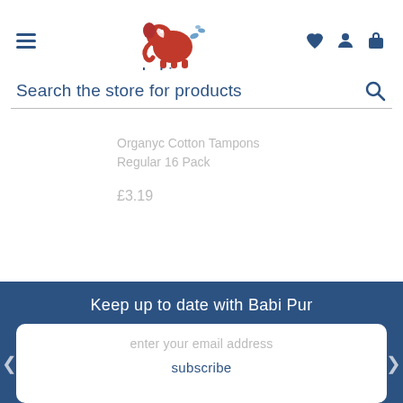[Figure (logo): Babipur logo: red elephant with moon and water splash, text 'babipur' below in dark blue]
Search the store for products
Organyc Cotton Tampons Regular 16 Pack
£3.19
Keep up to date with Babi Pur
enter your email address
subscribe